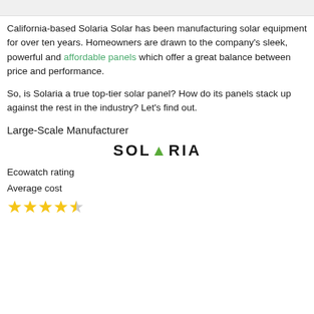California-based Solaria Solar has been manufacturing solar equipment for over ten years. Homeowners are drawn to the company's sleek, powerful and affordable panels which offer a great balance between price and performance.
So, is Solaria a true top-tier solar panel? How do its panels stack up against the rest in the industry? Let's find out.
Large-Scale Manufacturer
[Figure (logo): Solaria logo in black uppercase letters with a green stylized A]
Ecowatch rating
Average cost
[Figure (other): 3.5 out of 5 star rating shown as yellow stars]